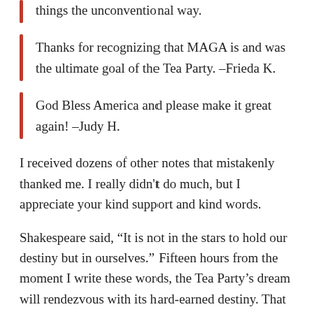things the unconventional way.
Thanks for recognizing that MAGA is and was the ultimate goal of the Tea Party. –Frieda K.
God Bless America and please make it great again! –Judy H.
I received dozens of other notes that mistakenly thanked me. I really didn't do much, but I appreciate your kind support and kind words.
Shakespeare said, “It is not in the stars to hold our destiny but in ourselves.” Fifteen hours from the moment I write these words, the Tea Party’s dream will rendezvous with its hard-earned destiny. That destiny, far too big for one man to contain, will nonetheless be personified by Donald J. Trump.